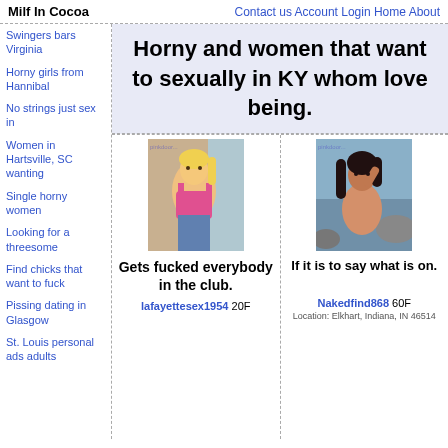Milf In Cocoa | Contact us Account Login Home About
Swingers bars Virginia
Horny girls from Hannibal
No strings just sex in
Women in Hartsville, SC wanting
Single horny women
Looking for a threesome
Find chicks that want to fuck
Pissing dating in Glasgow
St. Louis personal ads adults
Horny and women that want to sexually in KY whom love being.
[Figure (photo): Photo of blonde woman in pink top]
Gets fucked everybody in the club.
lafayettesex1954 20F
[Figure (photo): Photo of dark-haired woman outdoors]
If it is to say what is on.
Nakedfind868 60F
Location: Elkhart, Indiana, IN 46514